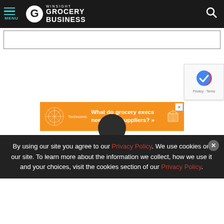MENU | Winsight Grocery Business
[Figure (screenshot): Advertisement banner placeholder box (white/empty)]
[Figure (infographic): Orange Technomic advertisement banner: 'What do grocery execs need from suppliers?']
[Figure (other): Partial reCAPTCHA widget showing checkmark logo, Privacy and Terms text]
By using our site you agree to our Privacy Policy. We use cookies on our site. To learn more about the information we collect, how we use it and your choices, visit the cookies section of our Privacy Policy.